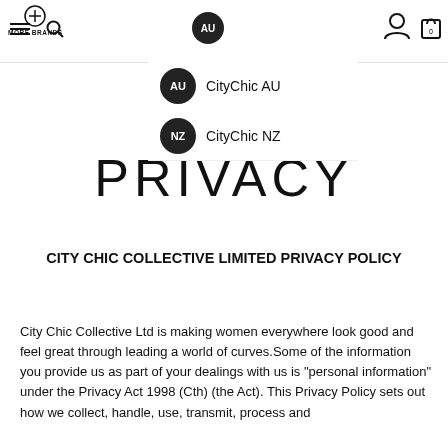MORE BRANDS navigation header with AU badge, hamburger, search, user and cart icons
[Figure (screenshot): Dropdown menu showing AU badge with 'CityChic AU' and NZ badge with 'CityChic NZ' options]
PRIVACY
CITY CHIC COLLECTIVE LIMITED PRIVACY POLICY
City Chic Collective Ltd is making women everywhere look good and feel great through leading a world of curves.Some of the information you provide us as part of your dealings with us is "personal information" under the Privacy Act 1998 (Cth) (the Act). This Privacy Policy sets out how we collect, handle, use, transmit, process and